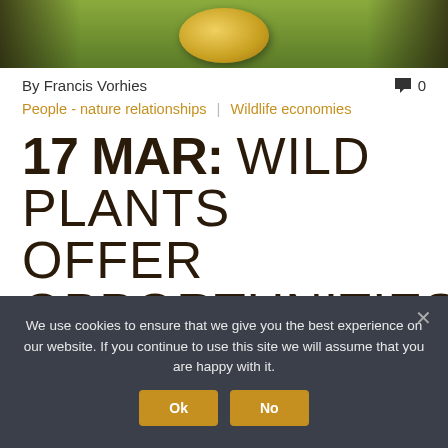[Figure (photo): Hands holding a yellow fruit (appears to be a marula or similar wild fruit) against a green grassy background]
By Francis Vorhies
💬 0
People - nature relationships | Wildlife economies
17 MAR: WILD PLANTS OFFER OPPORTUNITIES FOR AFRICA'S ECONOMY
We use cookies to ensure that we give you the best experience on our website. If you continue to use this site we will assume that you are happy with it.